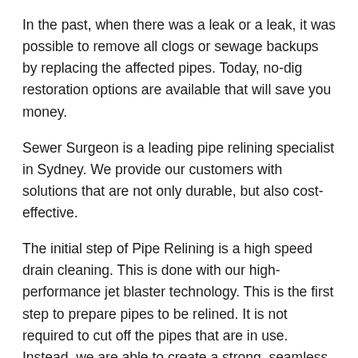In the past, when there was a leak or a leak, it was possible to remove all clogs or sewage backups by replacing the affected pipes. Today, no-dig restoration options are available that will save you money.
Sewer Surgeon is a leading pipe relining specialist in Sydney. We provide our customers with solutions that are not only durable, but also cost-effective.
The initial step of Pipe Relining is a high speed drain cleaning. This is done with our high-performance jet blaster technology. This is the first step to prepare pipes to be relined. It is not required to cut off the pipes that are in use. Instead, we are able to create a strong, seamless pipe that is within the pipe’s borders, which saves time and money. There’s no digging, no mess, just fully functional pipes once more.